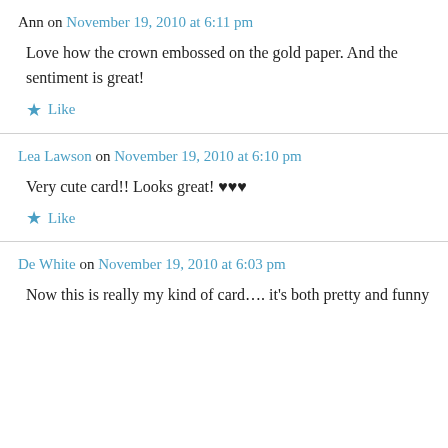Ann on November 19, 2010 at 6:11 pm
Love how the crown embossed on the gold paper. And the sentiment is great!
★ Like
Lea Lawson on November 19, 2010 at 6:10 pm
Very cute card!! Looks great! ♥♥♥
★ Like
De White on November 19, 2010 at 6:03 pm
Now this is really my kind of card…. it's both pretty and funny